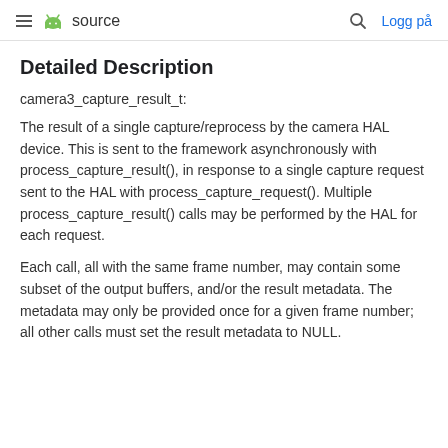≡ 🤖 source   🔍 Logg på
Detailed Description
camera3_capture_result_t:
The result of a single capture/reprocess by the camera HAL device. This is sent to the framework asynchronously with process_capture_result(), in response to a single capture request sent to the HAL with process_capture_request(). Multiple process_capture_result() calls may be performed by the HAL for each request.
Each call, all with the same frame number, may contain some subset of the output buffers, and/or the result metadata. The metadata may only be provided once for a given frame number; all other calls must set the result metadata to NULL.